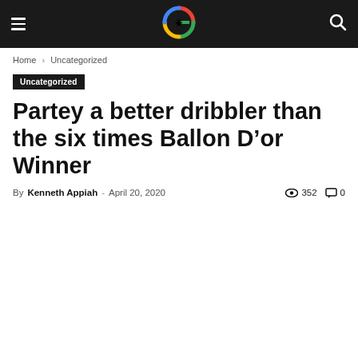Navigation bar with hamburger menu, G logo, and search icon
Home › Uncategorized
Uncategorized
Partey a better dribbler than the six times Ballon D'or Winner
By Kenneth Appiah - April 20, 2020  352  0